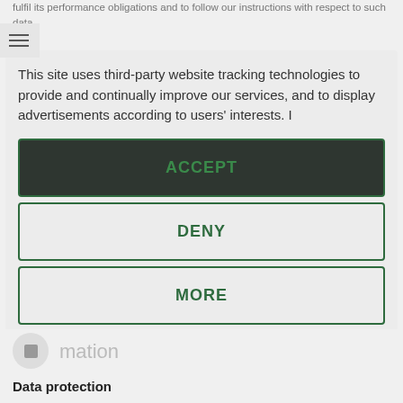fulfil its performance obligations and to follow our instructions with respect to such data.
[Figure (screenshot): Cookie consent modal with ACCEPT, DENY, MORE buttons and Usercentrics branding]
This site uses third-party website tracking technologies to provide and continually improve our services, and to display advertisements according to users' interests. I
ACCEPT
DENY
MORE
Powered by usercentrics &
mation
Data protection